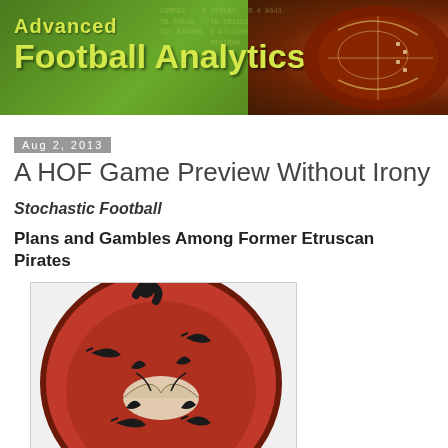[Figure (illustration): Advanced Football Analytics website header banner with yellow-green text on a green background, showing a football on the right side]
Aug 2, 2013
A HOF Game Preview Without Irony
Stochastic Football
Plans and Gambles Among Former Etruscan Pirates
[Figure (photo): Ancient Etruscan red-figure pottery vessel (kylix/plate) with black painted decorations showing figures and fish on a red-orange background, with a black handle visible at top]